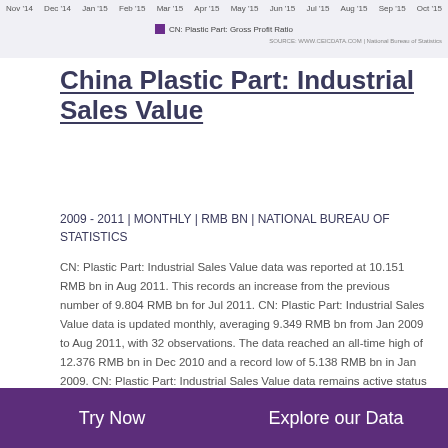Nov '14  Dec '14  Jan '15  Feb '15  Mar '15  Apr '15  May '15  Jun '15  Jul '15  Aug '15  Sep '15  Oct '15
CN: Plastic Part: Gross Profit Ratio
SOURCE: WWW.CEICDATA.COM | National Bureau of Statistics
China Plastic Part: Industrial Sales Value
2009 - 2011 | MONTHLY | RMB BN | NATIONAL BUREAU OF STATISTICS
CN: Plastic Part: Industrial Sales Value data was reported at 10.151 RMB bn in Aug 2011. This records an increase from the previous number of 9.804 RMB bn for Jul 2011. CN: Plastic Part: Industrial Sales Value data is updated monthly, averaging 9.349 RMB bn from Jan 2009 to Aug 2011, with 32 observations. The data reached an all-time high of 12.376 RMB bn in Dec 2010 and a record low of 5.138 RMB bn in Jan 2009. CN: Plastic Part: Industrial Sales Value data remains active status in CEIC and is reported by National Bureau of Statistics. The data is categorized under China Premium Database's
Try Now    Explore our Data